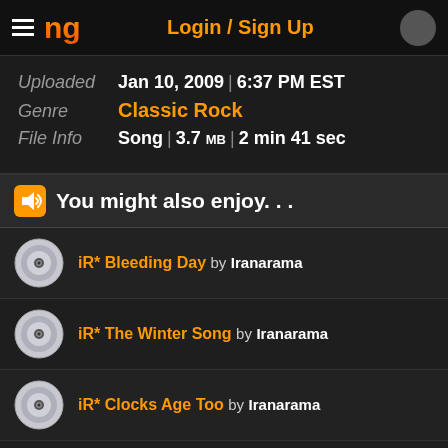NG  Login / Sign Up
Uploaded Jan 10, 2009 | 6:37 PM EST
Genre Classic Rock
File Info Song | 3.7 MB | 2 min 41 sec
You might also enjoy...
iR* Bleeding Day by Iranarama
iR* The Winter Song by Iranarama
iR* Clocks Age Too by Iranarama
iR* Big Wing by Iranarama